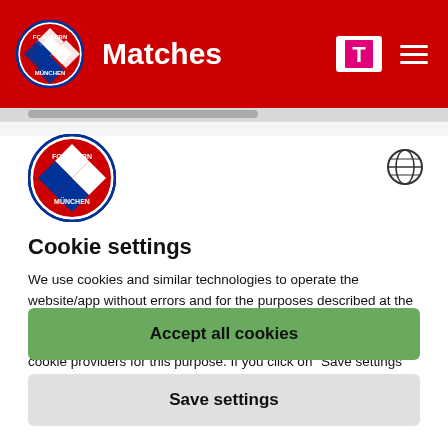Matches
[Figure (logo): FC Bayern München circular logo in header navbar]
[Figure (logo): FC Bayern München circular logo in cookie modal]
Cookie settings
We use cookies and similar technologies to operate the website/app without errors and for the purposes described at the controllers below. By clicking "Accept all cookies" you consent to the use of all cookies and agree that we may use non-EU/EEA cookie providers for this purpose. If you click on "Save settings" and do not make any further settings, you will refuse all cookies that require consent. You also have the option to select cookies individually via the controller below and click on "Save settings" or
Accept all cookies
Save settings